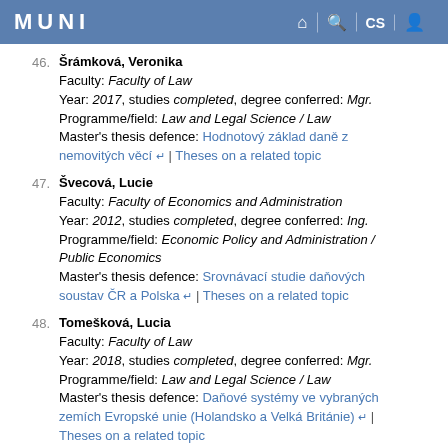MUNI
46. Šrámková, Veronika
Faculty: Faculty of Law
Year: 2017, studies completed, degree conferred: Mgr.
Programme/field: Law and Legal Science / Law
Master's thesis defence: Hodnotový základ daně z nemovitých věcí | Theses on a related topic
47. Švecová, Lucie
Faculty: Faculty of Economics and Administration
Year: 2012, studies completed, degree conferred: Ing.
Programme/field: Economic Policy and Administration / Public Economics
Master's thesis defence: Srovnávací studie daňových soustav ČR a Polska | Theses on a related topic
48. Tomešková, Lucia
Faculty: Faculty of Law
Year: 2018, studies completed, degree conferred: Mgr.
Programme/field: Law and Legal Science / Law
Master's thesis defence: Daňové systémy ve vybraných zemích Evropské unie (Holandsko a Velká Británie) | Theses on a related topic
Master's thesis defence: Porovnanie konštrukčných prvkov